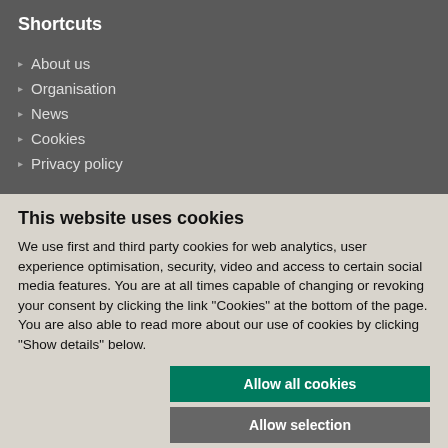Shortcuts
About us
Organisation
News
Cookies
Privacy policy
This website uses cookies
We use first and third party cookies for web analytics, user experience optimisation, security, video and access to certain social media features. You are at all times capable of changing or revoking your consent by clicking the link "Cookies" at the bottom of the page. You are also able to read more about our use of cookies by clicking "Show details" below.
Allow all cookies
Allow selection
Use necessary cookies only
Necessary  Preferences  Statistics  Marketing  Show details